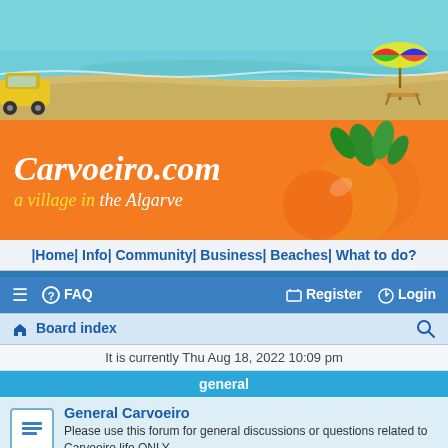[Figure (illustration): Beach scene banner with turquoise water, sandy beach, yellow car on left, beach umbrella and chair on right]
[Figure (logo): Carvoeiro.com logo on orange background with oranges illustration. Text: 'Carvoeiro.com' and 'a village in the Algarve']
|Home| Info| Community| Business| Beaches| What to do?
≡  ? FAQ    Register  ⏻ Login
⌂ Board index
It is currently Thu Aug 18, 2022 10:09 pm
general
General Carvoeiro
Please use this forum for general discussions or questions related to Carvoeiro life ONLY
Moderators: Gambrinus, e-richard, kteee
Topics: 8189
Property owners forum / Portugal living.
Share experience regarding ownership of property and/or living in Portugal.
Moderators: Gambrinus, e-richard, kteee